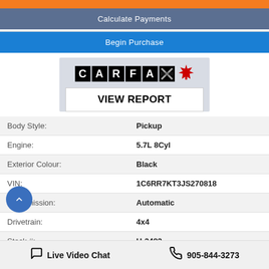[Figure (screenshot): Orange top bar]
Calculate Payments
Begin Purchase
[Figure (logo): CARFAX Canada logo with maple leaf and VIEW REPORT button]
| Body Style: | Pickup |
| Engine: | 5.7L 8Cyl |
| Exterior Colour: | Black |
| VIN: | 1C6RR7KT3JS270818 |
| Transmission: | Automatic |
| Drivetrain: | 4x4 |
| Stock #: | U-2482 |
Live Video Chat   905-844-3273